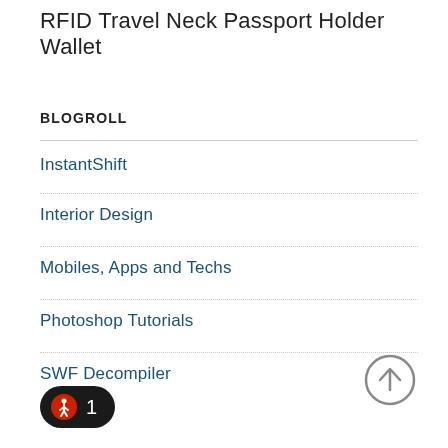RFID Travel Neck Passport Holder Wallet
BLOGROLL
InstantShift
Interior Design
Mobiles, Apps and Techs
Photoshop Tutorials
SWF Decompiler
[Figure (other): Up arrow navigation button in a grey circle]
[Figure (other): Black pill-shaped badge with a walking person icon in red circle and the number 1]